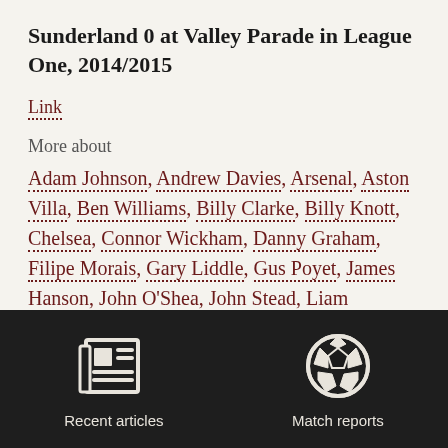Sunderland 0 at Valley Parade in League One, 2014/2015
Link
More about
Adam Johnson, Andrew Davies, Arsenal, Aston Villa, Ben Williams, Billy Clarke, Billy Knott, Chelsea, Connor Wickham, Danny Graham, Filipe Morais, Gary Liddle, Gus Poyet, James Hanson, John O'Shea, John Stead, Liam
[Figure (infographic): Dark footer bar with two icons: a newspaper icon labeled 'Recent articles' and a soccer ball icon labeled 'Match reports']